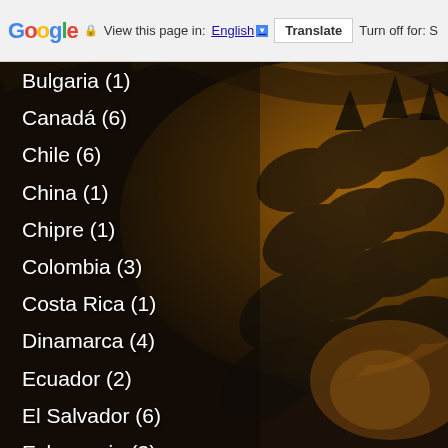Google  View this page in: English ▼  Translate  Turn off for: S
Bulgaria (1)
Canadá (6)
Chile (6)
China (1)
Chipre (1)
Colombia (3)
Costa Rica (1)
Dinamarca (4)
Ecuador (2)
El Salvador (6)
Eslovaquia (3)
Eslovenia (1)
España (51)
Estados Unidos (77)